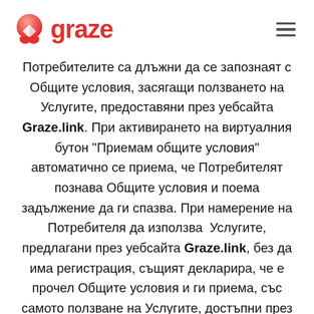graze
Потребителите са длъжни да се запознаят с Общите условия, засягащи ползването на Услугите, предоставяни през уебсайта Graze.link. При активирането на виртуалния бутон "Приемам общите условия" автоматично се приема, че Потребителят познава Общите условия и поема задължение да ги спазва. При намерение на Потребителя да използва  Услугите, предлагани през уебсайта Graze.link, без да има регистрация, същият декларира, че е прочел Общите условия и ги приема, със самото ползване на Услугите, достъпни през Graze.link.